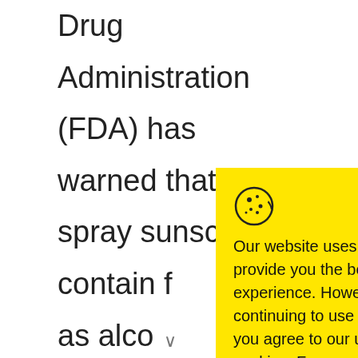Drug Administration (FDA) has warned that since spray sunscreens contain f[obscured]... as alco[obscured]... to catch[obscured]... The FDA[obscured]... incidents[obscured]... after usi[obscured]...
[Figure (screenshot): Cookie consent modal popup with yellow background. Contains cookie icon, text about website cookie usage with link to Cookie Policy, and a black Accept button. A dark circular close button (x) appears in the top-right corner.]